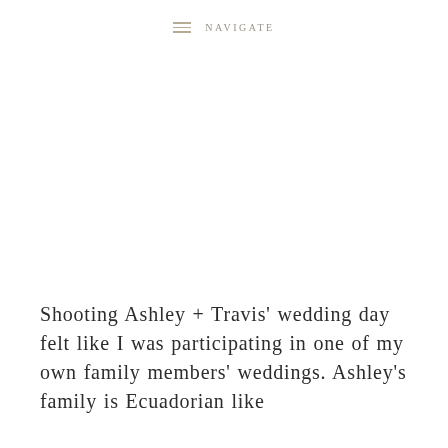NAVIGATE
Shooting Ashley + Travis' wedding day felt like I was participating in one of my own family members' weddings. Ashley's family is Ecuadorian like